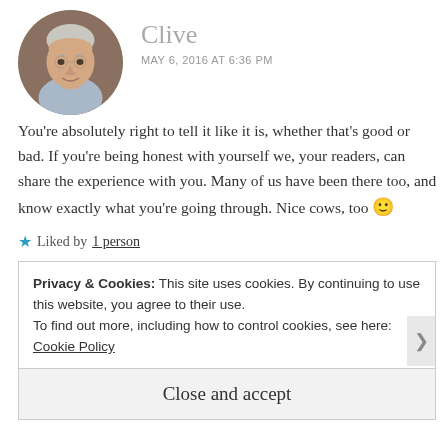[Figure (photo): Circular avatar photo of a middle-aged man with white/grey hair, wearing a light blue shirt, seated indoors with warm background lighting.]
Clive
MAY 6, 2016 AT 6:36 PM
You’re absolutely right to tell it like it is, whether that’s good or bad. If you’re being honest with yourself we, your readers, can share the experience with you. Many of us have been there too, and know exactly what you’re going through. Nice cows, too 🙂
★ Liked by 1 person
REPLY
Privacy & Cookies: This site uses cookies. By continuing to use this website, you agree to their use.
To find out more, including how to control cookies, see here:
Cookie Policy
Close and accept